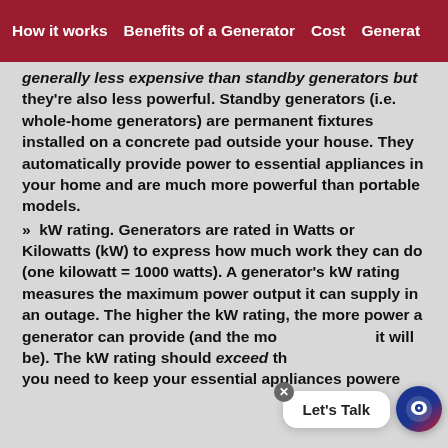How it works   Benefits of a Generator   Cost   Generat
generally less expensive than standby generators but they're also less powerful. Standby generators (i.e. whole-home generators) are permanent fixtures installed on a concrete pad outside your house. They automatically provide power to essential appliances in your home and are much more powerful than portable models.
» kW rating. Generators are rated in Watts or Kilowatts (kW) to express how much work they can do (one kilowatt = 1000 watts). A generator's kW rating measures the maximum power output it can supply in an outage. The higher the kW rating, the more power a generator can provide (and the more expensive it will be). The kW rating should exceed the power you need to keep your essential appliances powered